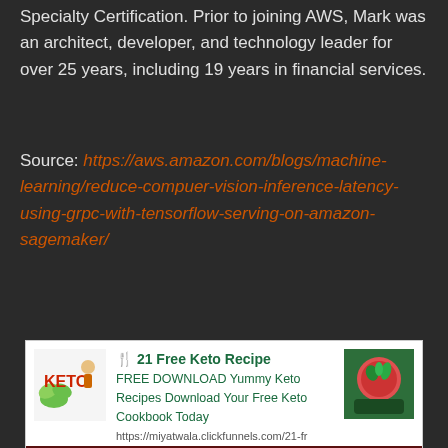Specialty Certification. Prior to joining AWS, Mark was an architect, developer, and technology leader for over 25 years, including 19 years in financial services.
Source: https://aws.amazon.com/blogs/machine-learning/reduce-compuer-vision-inference-latency-using-grpc-with-tensorflow-serving-on-amazon-sagemaker/
[Figure (other): Advertisement banner for '21 Free Keto Recipe' with KETO logo on left, green text for free download of keto cookbook, URL https://miyatwala.clickfunnels.com/21-fr, and a food image on the right with dark red bar at bottom.]
Webmaster